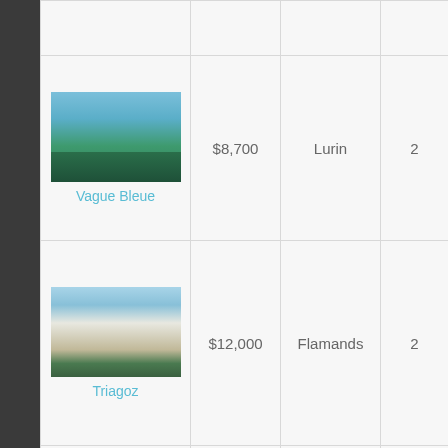| Property | Price | Location | Bedrooms |
| --- | --- | --- | --- |
| Vague Bleue | $8,700 | Lurin | 2 |
| Triagoz | $12,000 | Flamands | 2 |